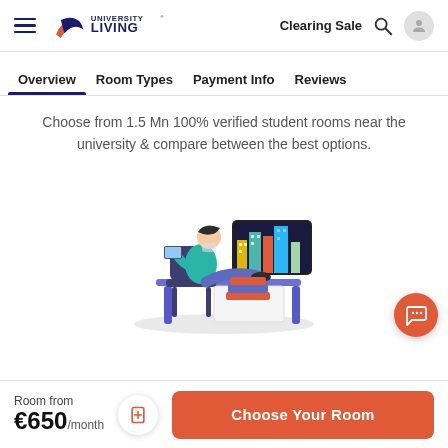University Living — Clearing Sale
Overview | Room Types | Payment Info | Reviews
Choose from 1.5 Mn 100% verified student rooms near the university & compare between the best options.
[Figure (illustration): Illustration of a student sitting on a chair with feet up on a desk, using a tablet, with a monitor showing colorful city buildings in the background and stacked books on the desk.]
Room from
€650/month
Choose Your Room